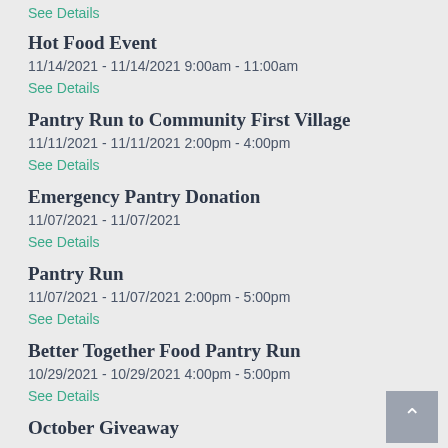See Details
Hot Food Event
11/14/2021 - 11/14/2021 9:00am - 11:00am
See Details
Pantry Run to Community First Village
11/11/2021 - 11/11/2021 2:00pm - 4:00pm
See Details
Emergency Pantry Donation
11/07/2021 - 11/07/2021
See Details
Pantry Run
11/07/2021 - 11/07/2021 2:00pm - 5:00pm
See Details
Better Together Food Pantry Run
10/29/2021 - 10/29/2021 4:00pm - 5:00pm
See Details
October Giveaway